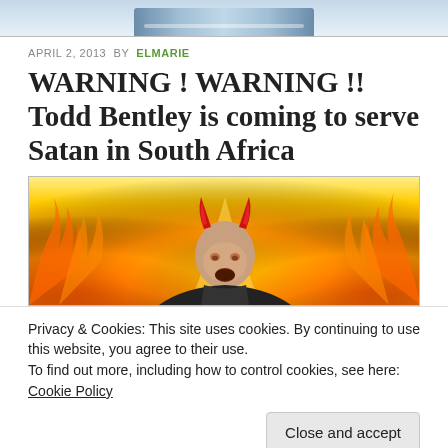[Figure (photo): Top strip showing partial view of a book on a desk, cropped at top of page]
APRIL 2, 2013  BY  ELMARIE
WARNING ! WARNING !! Todd Bentley is coming to serve Satan in South Africa
[Figure (photo): Photo of a bald man with digitally added devil horns, surrounded by flames in the background]
Privacy & Cookies: This site uses cookies. By continuing to use this website, you agree to their use.
To find out more, including how to control cookies, see here: Cookie Policy
Close and accept